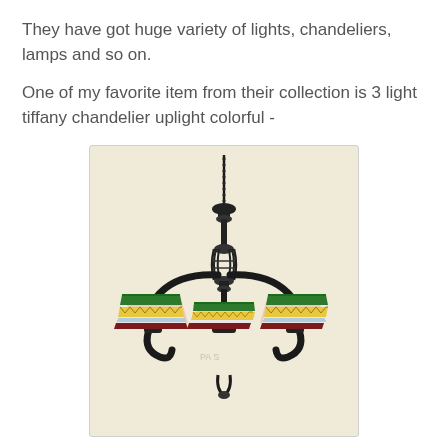They have got huge variety of lights, chandeliers, lamps and so on.
One of my favorite item from their collection is 3 light tiffany chandelier uplight colorful -
[Figure (photo): A 3-light Tiffany chandelier with colorful uplight stained glass shades in green, pink, yellow, and dark red, with an ornate black wrought-iron frame and hanging chain, against a cream/beige background.]